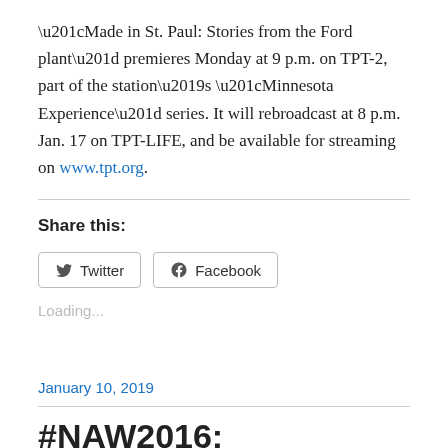“Made in St. Paul: Stories from the Ford plant” premieres Monday at 9 p.m. on TPT-2, part of the station’s “Minnesota Experience” series. It will rebroadcast at 8 p.m. Jan. 17 on TPT-LIFE, and be available for streaming on www.tpt.org.
Share this:
Twitter
Facebook
Loading...
January 10, 2019
#NAW2016: Apprenticeship